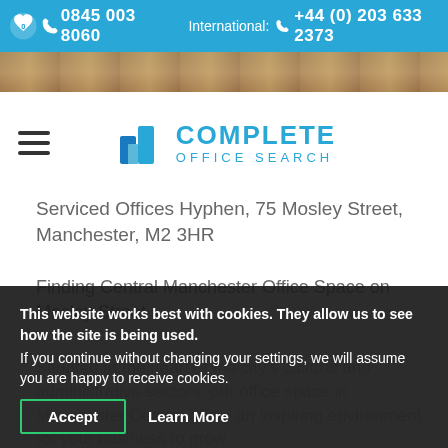0845 003 8060   International: +44 (0) 203 633 2373
[Figure (screenshot): Partial background image strip showing warm brown/tan tones]
[Figure (logo): Complete Office Search logo with blue building icon and blue text reading COMPLETE OFFICE SEARCH]
Serviced Offices Hyphen, 75 Mosley Street, Manchester, M2 3HR
Finding Central Manchester Office Space on Mosley Street
Situated at the heart of the city's cultural and administrative sectors, our office space in Manchester Central offers an inspiring environment for your business to grow...
This website works best with cookies. They allow us to see how the site is being used.
If you continue without changing your settings, we will assume you are happy to receive cookies.